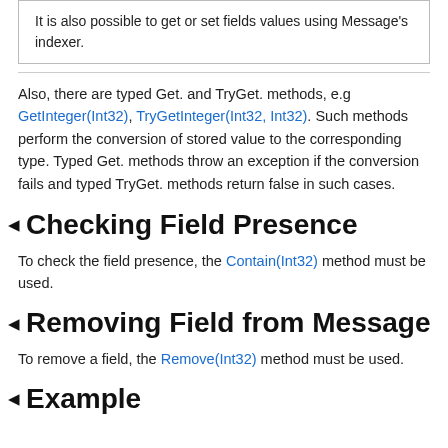It is also possible to get or set fields values using Message's indexer.
Also, there are typed Get. and TryGet. methods, e.g GetInteger(Int32), TryGetInteger(Int32, Int32). Such methods perform the conversion of stored value to the corresponding type. Typed Get. methods throw an exception if the conversion fails and typed TryGet. methods return false in such cases.
Checking Field Presence
To check the field presence, the Contain(Int32) method must be used.
Removing Field from Message
To remove a field, the Remove(Int32) method must be used.
Example